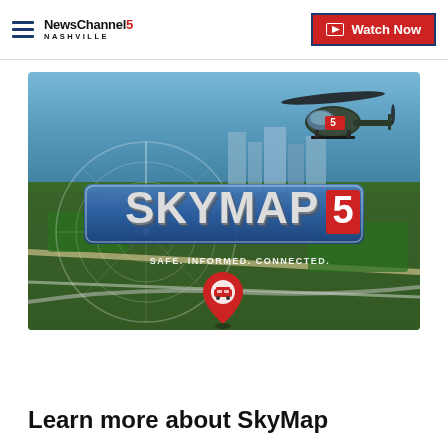NewsChannel 5 Nashville | Watch Now
[Figure (illustration): SkyMap5 promotional image showing a helicopter over an aerial view of Nashville with the SkyMap5 logo and tagline 'SAFE. INFORMED. CONNECTED.' and a red location pin icon.]
Learn more about SkyMap